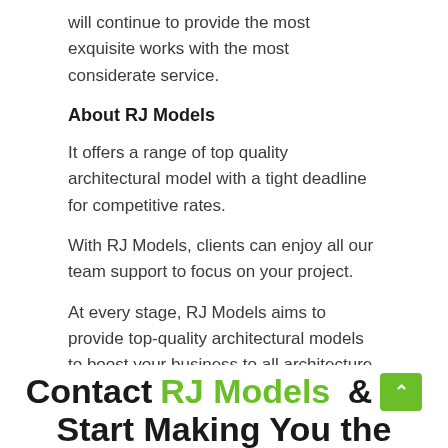will continue to provide the most exquisite works with the most considerate service.
About RJ Models
It offers a range of top quality architectural model with a tight deadline for competitive rates.
With RJ Models, clients can enjoy all our team support to focus on your project.
At every stage, RJ Models aims to provide top-quality architectural models to boost your business to all architecture in the world.o
Contact RJ Models & Start Making You the